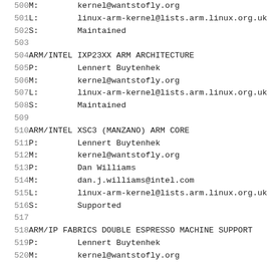500   M:        kernel@wantstofly.org
501   L:        linux-arm-kernel@lists.arm.linux.org.uk
502   S:        Maintained
503
504   ARM/INTEL IXP23XX ARM ARCHITECTURE
505   P:        Lennert Buytenhek
506   M:        kernel@wantstofly.org
507   L:        linux-arm-kernel@lists.arm.linux.org.uk
508   S:        Maintained
509
510   ARM/INTEL XSC3 (MANZANO) ARM CORE
511   P:        Lennert Buytenhek
512   M:        kernel@wantstofly.org
513   P:        Dan Williams
514   M:        dan.j.williams@intel.com
515   L:        linux-arm-kernel@lists.arm.linux.org.uk
516   S:        Supported
517
518   ARM/IP FABRICS DOUBLE ESPRESSO MACHINE SUPPORT
519   P:        Lennert Buytenhek
520   M:        kernel@wantstofly.org